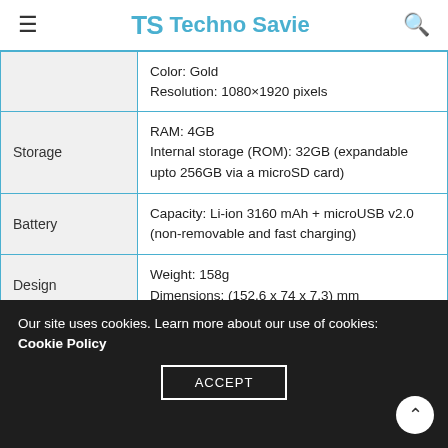TS Techno Savie
|  | Color: Gold
Resolution: 1080×1920 pixels |
| Storage | RAM: 4GB
Internal storage (ROM): 32GB (expandable upto 256GB via a microSD card) |
| Battery | Capacity: Li-ion 3160 mAh + microUSB v2.0
(non-removable and fast charging) |
| Design | Weight: 158g
Dimensions: (152.6 x 74 x 7.3) mm |
Our site uses cookies. Learn more about our use of cookies: Cookie Policy
ACCEPT